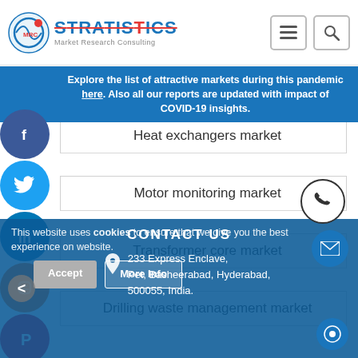Stratistics Market Research Consulting
Explore the list of attractive markets during this pandemic here. Also all our reports are updated with impact of COVID-19 insights.
Heat exchangers market
Motor monitoring market
Transformer core market
Drilling waste management market
CONTACT US
233 Express Enclave, Pet, Basheerabad, Hyderabad, 500055, India.
This website uses cookies to ensure that we give you the best experience on website.